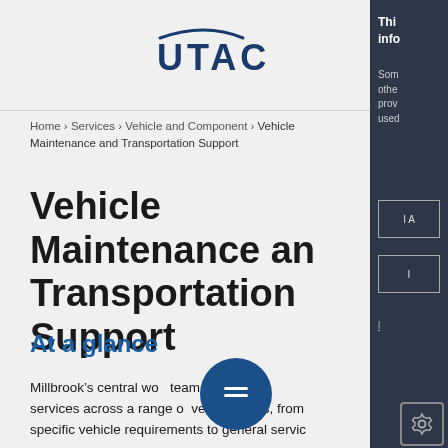[Figure (logo): UTAC logo with swoosh above letters]
Home › Services › Vehicle and Component › Vehicle Maintenance and Transportation Support
Vehicle Maintenance and Transportation Support
At a glance
Millbrook's central workshop team provides services across a range of vehicle types, from specific vehicle requirements to general servic...
This info
Some other prov used
IA
I
l